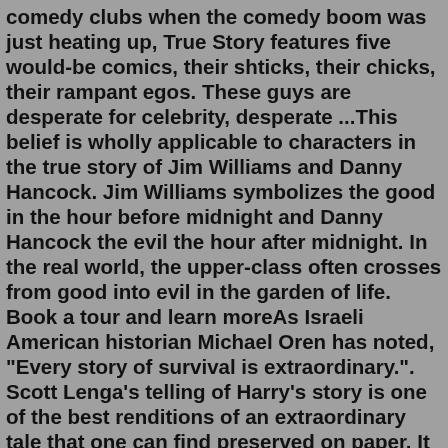comedy clubs when the comedy boom was just heating up, True Story features five would-be comics, their shticks, their chicks, their rampant egos. These guys are desperate for celebrity, desperate ...This belief is wholly applicable to characters in the true story of Jim Williams and Danny Hancock. Jim Williams symbolizes the good in the hour before midnight and Danny Hancock the evil the hour after midnight. In the real world, the upper-class often crosses from good into evil in the garden of life. Book a tour and learn moreAs Israeli American historian Michael Oren has noted, "Every story of survival is extraordinary.". Scott Lenga's telling of Harry's story is one of the best renditions of an extraordinary tale that one can find preserved on paper. It is a compelling book that leaves the reader in awe of the journey of Harry and his brothers, The ...Other stories of trips to heaven include Heaven is for Real, the story of a toddler's visit to heaven. The book was on The New York Times' best-seller list for 59 weeks and the film adaptation earned $91 million in the U.S.